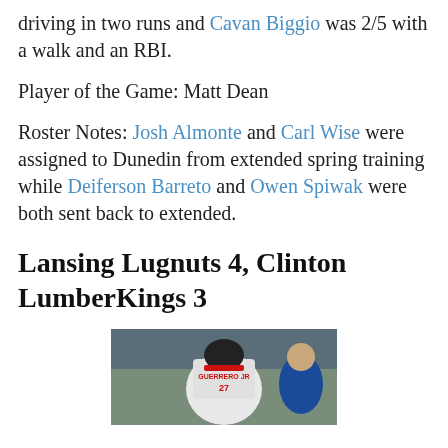driving in two runs and Cavan Biggio was 2/5 with a walk and an RBI.
Player of the Game: Matt Dean
Roster Notes: Josh Almonte and Carl Wise were assigned to Dunedin from extended spring training while Deiferson Barreto and Owen Spiwak were both sent back to extended.
Lansing Lugnuts 4, Clinton LumberKings 3
[Figure (photo): Photo of a baseball player wearing a jersey with 'GUERRERO JR' and number 27, seen from behind in a dugout or on-field setting.]